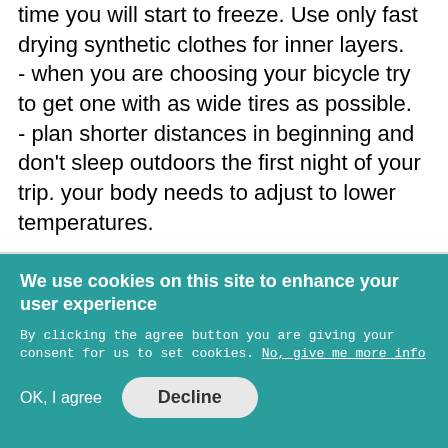time you will start to freeze. Use only fast drying synthetic clothes for inner layers.
- when you are choosing your bicycle try to get one with as wide tires as possible.
- plan shorter distances in beginning and don't sleep outdoors the first night of your trip. your body needs to adjust to lower temperatures.
[Figure (screenshot): Gray box with a small bordered button containing three square icons (table/grid icon)]
We use cookies on this site to enhance your user experience
By clicking the agree button you are giving your consent for us to set cookies. No, give me more info
OK, I agree   Decline